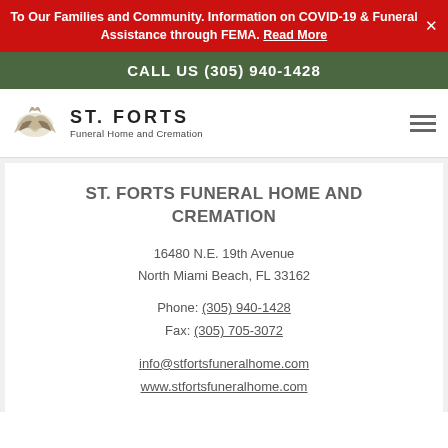To Our Families and Community. Information on COVID-19 & Funeral Assistance through FEMA. Read More
CALL US (305) 940-1428
[Figure (logo): St. Forts Funeral Home and Cremation logo with eagle/dove illustration]
ST. FORTS FUNERAL HOME AND CREMATION
16480 N.E. 19th Avenue
North Miami Beach, FL 33162
Phone: (305) 940-1428
Fax: (305) 705-3072
info@stfortsfuneralhome.com
www.stfortsfuneralhome.com